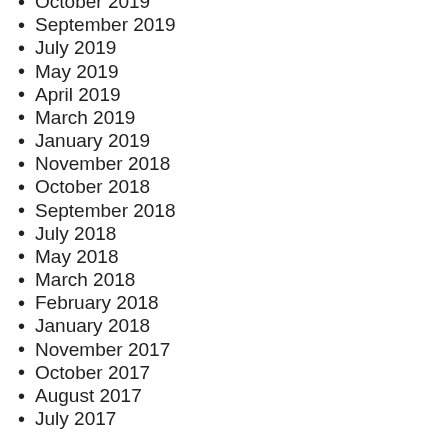October 2019
September 2019
July 2019
May 2019
April 2019
March 2019
January 2019
November 2018
October 2018
September 2018
July 2018
May 2018
March 2018
February 2018
January 2018
November 2017
October 2017
August 2017
July 2017